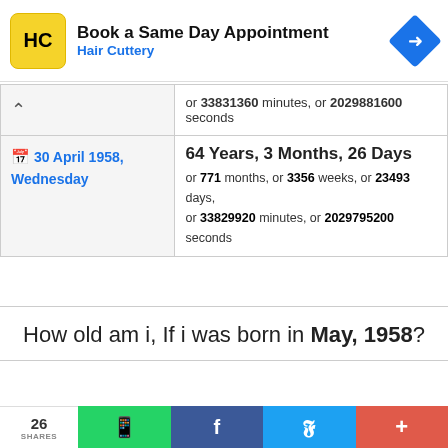[Figure (screenshot): Hair Cuttery advertisement banner with logo, text 'Book a Same Day Appointment', 'Hair Cuttery', and navigation arrow icon]
| Date | Age |
| --- | --- |
| (chevron up) | or 33831360 minutes, or 2029881600 seconds |
| 📅 30 April 1958, Wednesday | 64 Years, 3 Months, 26 Days
or 771 months, or 3356 weeks, or 23493 days, or 33829920 minutes, or 2029795200 seconds |
How old am i, If i was born in May, 1958?
| Date | Age |
| --- | --- |
| 📅 01 May 1958, Thursday | 64 Years, 3 Months, 24 Days
or 771 months, or 3356 weeks, or 23492 days, |
26 SHARES | WhatsApp | Facebook | Twitter | More